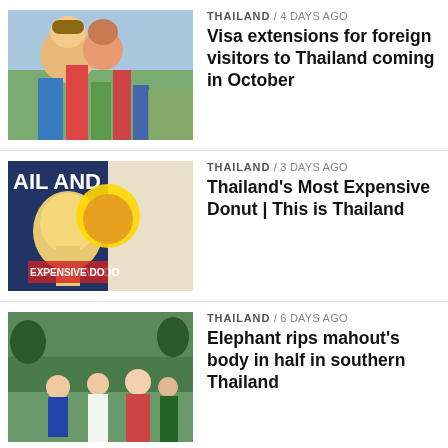THAILAND / 4 days ago
Visa extensions for foreign visitors to Thailand coming in October
THAILAND / 3 days ago
Thailand's Most Expensive Donut | This is Thailand
THAILAND / 6 days ago
Elephant rips mahout's body in half in southern Thailand
SOUTH KOREA / 2 days ago
UPDATE: 110 Thais on one flight denied entry into South Korea
CHON BURI / 5 days ago
'Dead body' on Thailand beach turns out to be sex doll